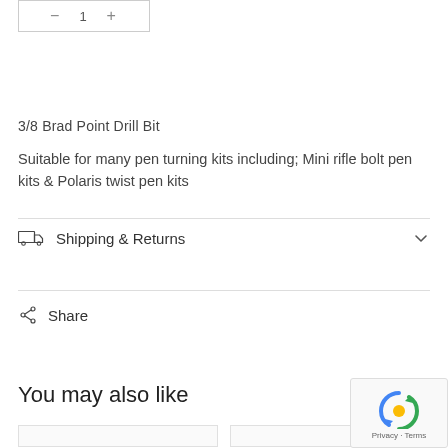[Figure (other): Quantity selector box with minus and plus controls]
3/8 Brad Point Drill Bit
Suitable for many pen turning kits including; Mini rifle bolt pen kits & Polaris twist pen kits
Shipping & Returns
Share
You may also like